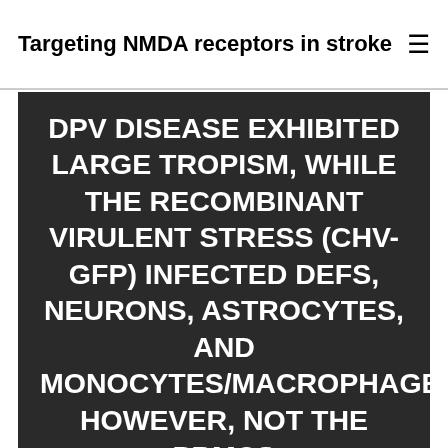Targeting NMDA receptors in stroke ≡
DPV DISEASE EXHIBITED LARGE TROPISM, WHILE THE RECOMBINANT VIRULENT STRESS (CHV-GFP) INFECTED DEFS, NEURONS, ASTROCYTES, AND MONOCYTES/MACROPHAGES, HOWEVER, NOT THE PBMCS